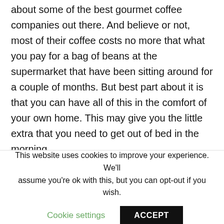about some of the best gourmet coffee companies out there. And believe or not, most of their coffee costs no more that what you pay for a bag of beans at the supermarket that have been sitting around for a couple of months. But best part about it is that you can have all of this in the comfort of your own home. This may give you the little extra that you need to get out of bed in the morning.
=== Skyferia Life's Related Posts ===
This website uses cookies to improve your experience. We'll assume you're ok with this, but you can opt-out if you wish.
Cookie settings   ACCEPT